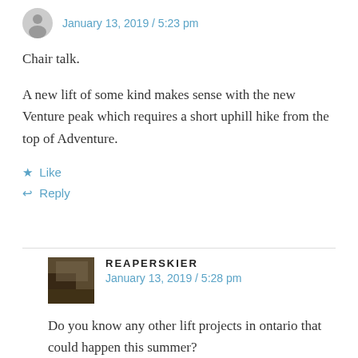January 13, 2019 / 5:23 pm
Chair talk.
A new lift of some kind makes sense with the new Venture peak which requires a short uphill hike from the top of Adventure.
★ Like
↩ Reply
REAPERSKIER
January 13, 2019 / 5:28 pm
Do you know any other lift projects in ontario that could happen this summer?